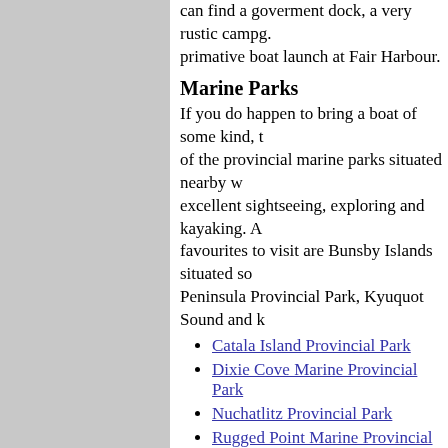can find a goverment dock, a very rustic campg... primative boat launch at Fair Harbour.
Marine Parks
If you do happen to bring a boat of some kind, tr... of the provincial marine parks situated nearby w... excellent sightseeing, exploring and kayaking. A... favourites to visit are Bunsby Islands situated so... Peninsula Provincial Park, Kyuquot Sound and k...
Catala Island Provincial Park
Dixie Cove Marine Provincial Park
Nuchatlitz Provincial Park
Rugged Point Marine Provincial Park
M.V. Uchuck III
To service the various coastal communities on th... Vancouver Island, the M.V. Uchuck III sails throu... Kyoquot Sounds. The M.V. Uchuck III offers pas... weekly service from Gold River to Zeballos with... way at Tahsis and Yuquot (Friendly Cove) throu... months.
M.V. Uchuck III
Upana Caves
If you happen to be in the Zeballos area for the... also want to try the Upana Caves. These are loo... Campbell River near Gold River. The Upana Ca...